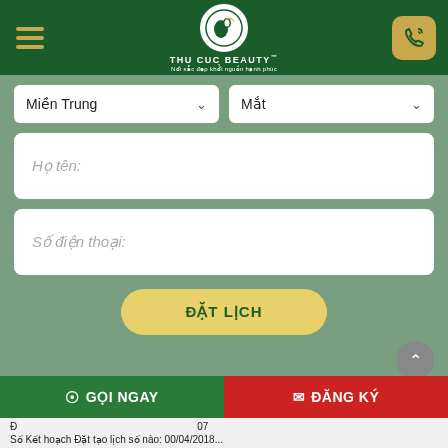[Figure (screenshot): Thu Cuc Beauty website header with hamburger menu, logo, and phone button]
Miền Trung
Mắt
Họ tên:
Số điện thoại:
ĐẶT LỊCH
GỌI NGAY
ĐĂNG KÝ